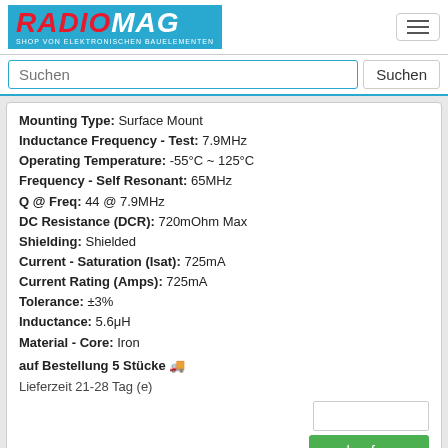RADIOMAG - SHOP VON ELEKTRONISCHEN BAUELEMENTEN
Suchen
Mounting Type: Surface Mount
Inductance Frequency - Test: 7.9MHz
Operating Temperature: -55°C ~ 125°C
Frequency - Self Resonant: 65MHz
Q @ Freq: 44 @ 7.9MHz
DC Resistance (DCR): 720mOhm Max
Shielding: Shielded
Current - Saturation (Isat): 725mA
Current Rating (Amps): 725mA
Tolerance: ±3%
Inductance: 5.6μH
Material - Core: Iron
auf Bestellung 5 Stücke
Lieferzeit 21-28 Tag (e)
S4924-563H
Hersteller: API Delevan Inc.
Description: FIXED IND 56UH 369MA 2.23 OHM
Height - Seated (Max): 0.230" (5.84mm)